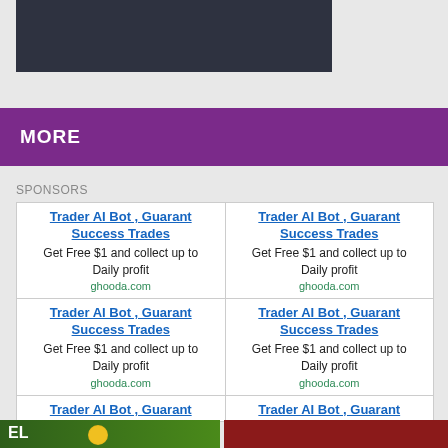[Figure (screenshot): Dark colored rectangular image strip at top of page]
MORE
SPONSORS
Trader AI Bot , Guarant Success Trades
Get Free $1 and collect up to Daily profit
ghooda.com
Trader AI Bot , Guarant Success Trades
Get Free $1 and collect up to Daily profit
ghooda.com
Trader AI Bot , Guarant Success Trades
Get Free $1 and collect up to Daily profit
ghooda.com
Trader AI Bot , Guarant Success Trades
Get Free $1 and collect up to Daily profit
ghooda.com
Trader AI Bot , Guarant Success Trades
Trader AI Bot , Guarant Success Trades
[Figure (photo): Partial green and red image strip at bottom of page with a coin/badge visible]